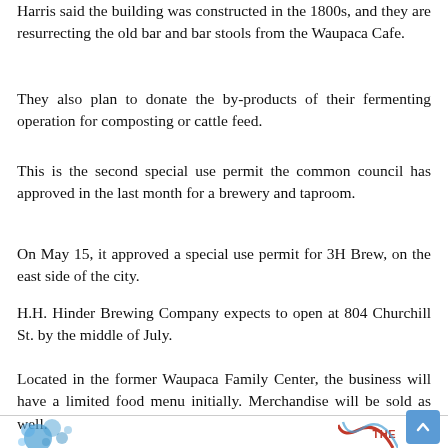Harris said the building was constructed in the 1800s, and they are resurrecting the old bar and bar stools from the Waupaca Cafe.
They also plan to donate the by-products of their fermenting operation for composting or cattle feed.
This is the second special use permit the common council has approved in the last month for a brewery and taproom.
On May 15, it approved a special use permit for 3H Brew, on the east side of the city.
H.H. Hinder Brewing Company expects to open at 804 Churchill St. by the middle of July.
Located in the former Waupaca Family Center, the business will have a limited food menu initially. Merchandise will be sold as well.
THE